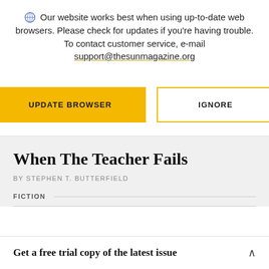Our website works best when using up-to-date web browsers. Please check for updates if you're having trouble. To contact customer service, e-mail support@thesunmagazine.org
[Figure (other): Two buttons: a yellow filled button labeled UPDATE BROWSER and a yellow-outlined button labeled IGNORE]
When The Teacher Fails
BY STEPHEN T. BUTTERFIELD
FICTION
Get a free trial copy of the latest issue